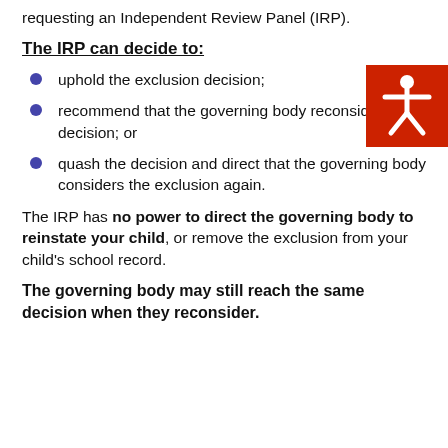requesting an Independent Review Panel (IRP).
The IRP can decide to:
uphold the exclusion decision;
recommend that the governing body reconsiders their decision; or
quash the decision and direct that the governing body considers the exclusion again.
The IRP has no power to direct the governing body to reinstate your child, or remove the exclusion from your child's school record.
The governing body may still reach the same decision when they reconsider.